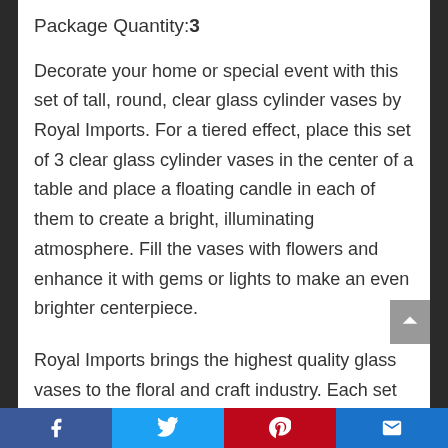Package Quantity:3
Decorate your home or special event with this set of tall, round, clear glass cylinder vases by Royal Imports. For a tiered effect, place this set of 3 clear glass cylinder vases in the center of a table and place a floating candle in each of them to create a bright, illuminating atmosphere. Fill the vases with flowers and enhance it with gems or lights to make an even brighter centerpiece.
Royal Imports brings the highest quality glass vases to the floral and craft industry. Each set of cylinders is crafted to classic
[Figure (other): Social media share bar with Facebook, Twitter, Pinterest, and email icons at the bottom of the page]